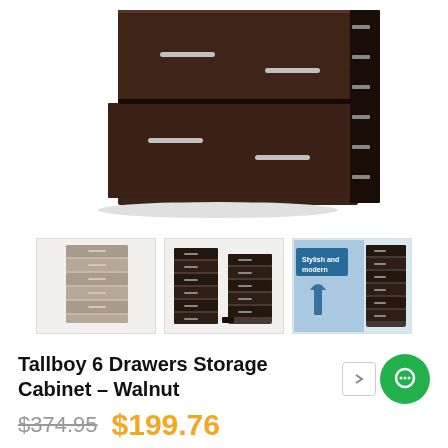[Figure (photo): Close-up photo of a dark walnut-finish tallboy chest of drawers with silver handles, drawers slightly open showing the drawer slides on the right side]
[Figure (photo): Thumbnail 1: Full view of dark walnut tallboy 6-drawer chest]
[Figure (photo): Thumbnail 2: Two dark tallboy cabinets side by side with open drawers]
[Figure (photo): Thumbnail 3: Lifestyle/marketing image with text 'Stylish and modern' showing the tallboy in a room setting]
Tallboy 6 Drawers Storage Cabinet – Walnut
$374.95  $199.76